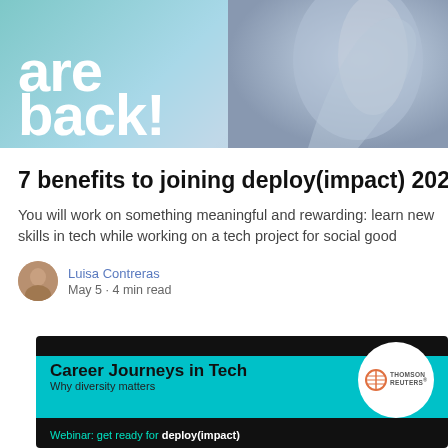[Figure (photo): Banner image with large white bold text 'are back!' on a teal/light blue background with a hand/palm in the upper right]
7 benefits to joining deploy(impact) 2022
You will work on something meaningful and rewarding: learn new skills in tech while working on a tech project for social good
Luisa Contreras
May 5 · 4 min read
[Figure (illustration): Dark banner with cyan bar showing 'Career Journeys in Tech - Why diversity matters', Thomson Reuters logo in white circle, and cyan text 'Webinar: get ready for deploy(impact)']